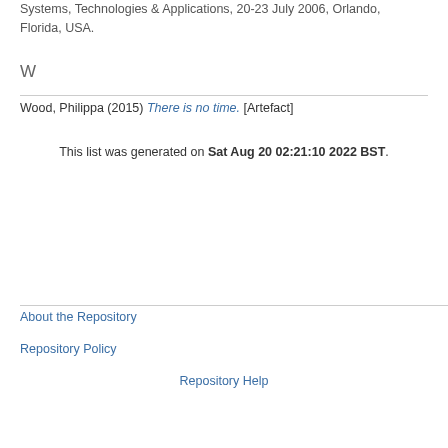Systems, Technologies & Applications, 20-23 July 2006, Orlando, Florida, USA.
W
Wood, Philippa (2015) There is no time. [Artefact]
This list was generated on Sat Aug 20 02:21:10 2022 BST.
About the Repository
Repository Policy
Repository Help